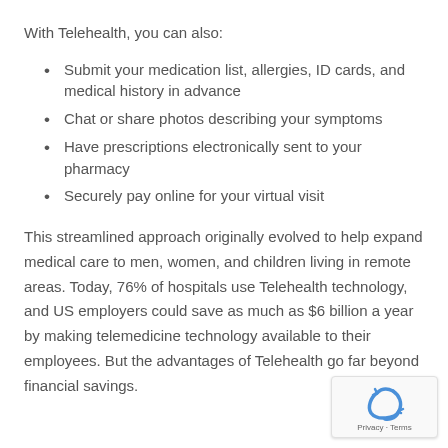With Telehealth, you can also:
Submit your medication list, allergies, ID cards, and medical history in advance
Chat or share photos describing your symptoms
Have prescriptions electronically sent to your pharmacy
Securely pay online for your virtual visit
This streamlined approach originally evolved to help expand medical care to men, women, and children living in remote areas. Today, 76% of hospitals use Telehealth technology, and US employers could save as much as $6 billion a year by making telemedicine technology available to their employees. But the advantages of Telehealth go far beyond financial savings.